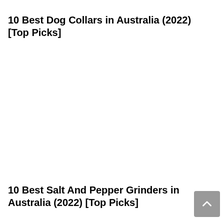10 Best Dog Collars in Australia (2022) [Top Picks]
10 Best Salt And Pepper Grinders in Australia (2022) [Top Picks]